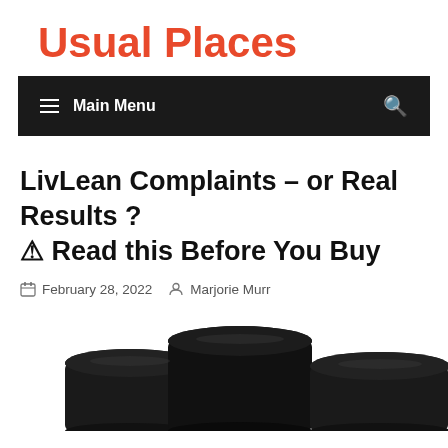Usual Places
≡ Main Menu
LivLean Complaints – or Real Results ? ⚠ Read this Before You Buy
February 28, 2022   Marjorie Murr
[Figure (photo): Three dark black supplement/product jars partially visible at bottom of page]